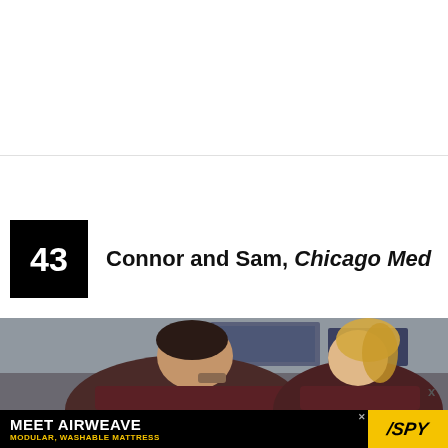Connor and Sam, Chicago Med
[Figure (photo): Two people in dark maroon scrubs in a hospital setting, smiling at each other. The person on the left is a dark-haired man, and the person on the right is a blonde woman.]
MEET AIRWEAVE MODULAR, WASHABLE MATTRESS SPY